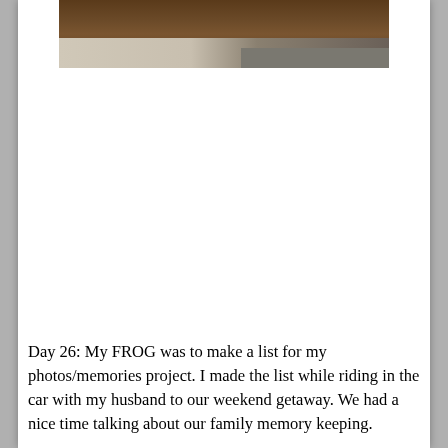[Figure (photo): Partial view of a wooden desk or table surface seen from below, with some light-colored fabric or cushion visible underneath, photographed in dim/dark lighting. The image is cropped at the top of the page.]
Day 26: My FROG was to make a list for my photos/memories project. I made the list while riding in the car with my husband to our weekend getaway. We had a nice time talking about our family memory keeping.